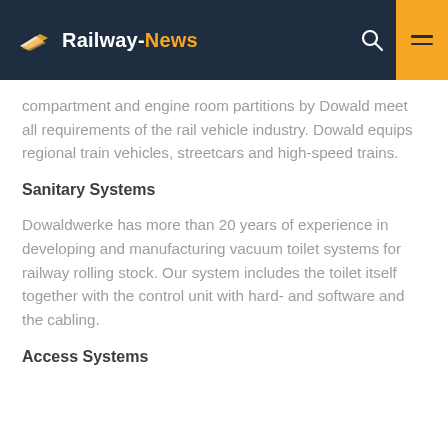Railway-News
compartment and engine room partitions by Dowald meet all requirements of the rail vehicle industry. Dowald equips regional train vehicles, streetcars and high-speed trains.
Sanitary Systems
Dowaldwerke has more than 20 years of experience in developing and manufacturing vacuum toilet systems for railway rolling stock. Our system includes the toilet itself together with the control unit with hard- and software and the cabling.
Access Systems